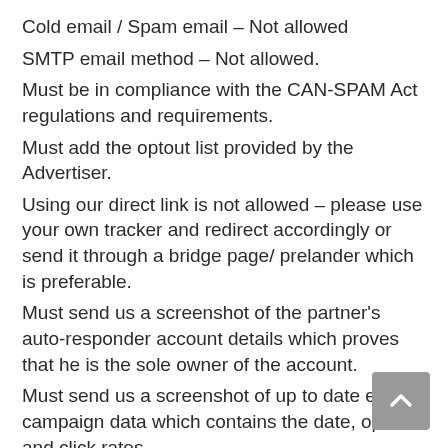Cold email / Spam email – Not allowed
SMTP email method – Not allowed.
Must be in compliance with the CAN-SPAM Act regulations and requirements.
Must add the optout list provided by the Advertiser.
Using our direct link is not allowed – please use your own tracker and redirect accordingly or send it through a bridge page/ prelander which is preferable.
Must send us a screenshot of the partner's auto-responder account details which proves that he is the sole owner of the account.
Must send us a screenshot of up to date email campaign data which contains the date, open and click rates.
Must send us a screenshot of up to date 50 subscribers data which contains the